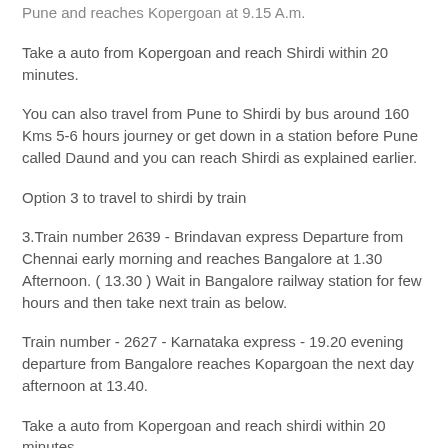Pune and reaches Kopergoan at 9.15 A.m.
Take a auto from Kopergoan and reach Shirdi within 20 minutes.
You can also travel from Pune to Shirdi by bus around 160 Kms 5-6 hours journey or get down in a station before Pune called Daund and you can reach Shirdi as explained earlier.
Option 3 to travel to shirdi by train
3.Train number 2639 - Brindavan express Departure from Chennai early morning and reaches Bangalore at 1.30 Afternoon. ( 13.30 ) Wait in Bangalore railway station for few hours and then take next train as below.
Train number - 2627 - Karnataka express - 19.20 evening departure from Bangalore reaches Kopargoan the next day afternoon at 13.40.
Take a auto from Kopergoan and reach shirdi within 20 minutes.